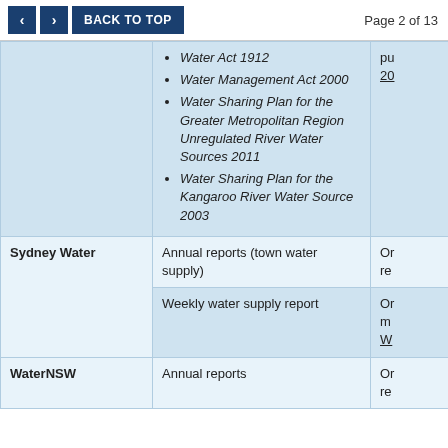< > BACK TO TOP    Page 2 of 13
|  | Documents |  |
| --- | --- | --- |
|  | Water Act 1912 | Water Management Act 2000 | Water Sharing Plan for the Greater Metropolitan Region Unregulated River Water Sources 2011 | Water Sharing Plan for the Kangaroo River Water Source 2003 | pu 20 |
| Sydney Water | Annual reports (town water supply) | Or re |
|  | Weekly water supply report | Or m W |
| WaterNSW | Annual reports | Or re |